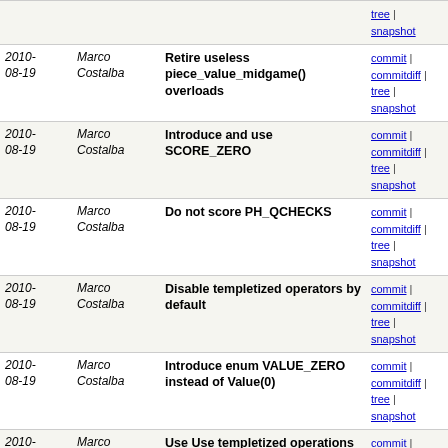| Date | Author | Message | Links |
| --- | --- | --- | --- |
| 2010-08-19 | Marco Costalba | Retire useless piece_value_midgame() overloads | commit | commitdiff | tree | snapshot |
| 2010-08-19 | Marco Costalba | Introduce and use SCORE_ZERO | commit | commitdiff | tree | snapshot |
| 2010-08-19 | Marco Costalba | Do not score PH_QCHECKS | commit | commitdiff | tree | snapshot |
| 2010-08-19 | Marco Costalba | Disable templetized operators by default | commit | commitdiff | tree | snapshot |
| 2010-08-19 | Marco Costalba | Introduce enum VALUE_ZERO instead of Value(0) | commit | commitdiff | tree | snapshot |
| 2010-08-19 | Marco Costalba | Use Use templetized operations for Score and Value | commit | commitdiff | tree | snapshot |
| 2010-08-19 | Marco Costalba | Use templetized operations for Piece | commit | commitdiff | tree | snapshot |
| 2010-08-19 | Marco Costalba | Use templetized operations for Square | commit | commitdiff | tree | snapshot |
| 2010-08-19 | Marco Costalba | Use templetized operations for File and Rank | commit | commitdiff | tree | snapshot |
| 2010-08-19 | Marco Costalba | Use templetize enum operations for Depth | commit | commitdiff | tree | snapshot |